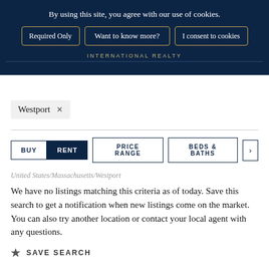By using this site, you agree with our use of cookies.
Required Only | Want to know more? | I consent to cookies
INTERNATIONAL REALTY
Westport ×
BUY  RENT  PRICE RANGE  BEDS & BATHS  >
United States/Massachusetts/Westport
We have no listings matching this criteria as of today. Save this search to get a notification when new listings come on the market. You can also try another location or contact your local agent with any questions.
★ SAVE SEARCH